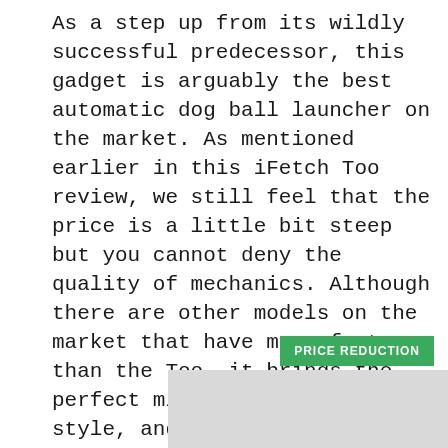As a step up from its wildly successful predecessor, this gadget is arguably the best automatic dog ball launcher on the market. As mentioned earlier in this iFetch Too review, we still feel that the price is a little bit steep but you cannot deny the quality of mechanics. Although there are other models on the market that have more features than the Too, it brings the perfect mix of reliability, style, and performance that makes this our go-to launcher for medium to large dogs.
PRICE REDUCTION
[Figure (photo): Gray placeholder image rectangle]